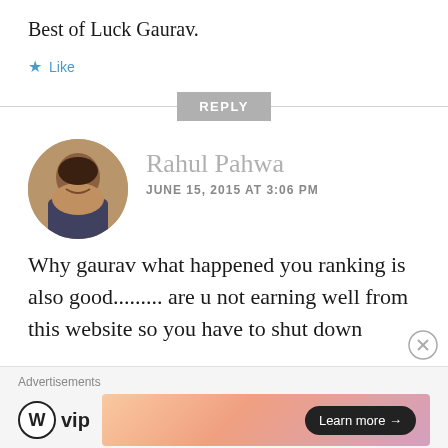Best of Luck Gaurav.
★ Like
REPLY
Rahul Pahwa
JUNE 15, 2015 AT 3:06 PM
[Figure (photo): Round avatar photo of Rahul Pahwa, a young man]
Why gaurav what happened you ranking is also good......... are u not earning well from this website so you have to shut down
Advertisements
[Figure (logo): WordPress VIP logo with W icon and 'vip' text, and a Learn more button on a gradient banner]